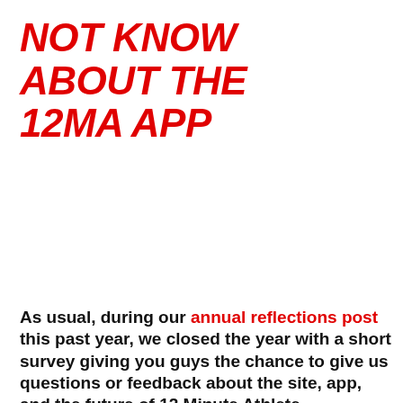NOT KNOW ABOUT THE 12MA APP
As usual, during our annual reflections post this past year, we closed the year with a short survey giving you guys the chance to give us questions or feedback about the site, app, and the future of 12 Minute Athlete.
What we realized after looking through the